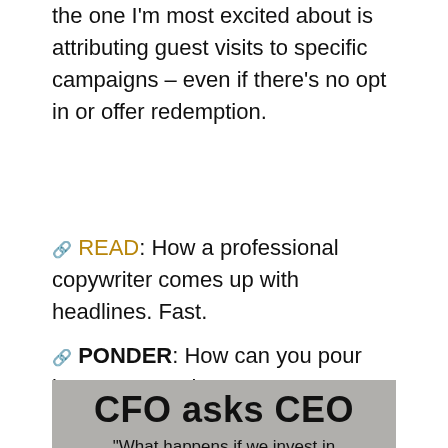the one I'm most excited about is attributing guest visits to specific campaigns – even if there's no opt in or offer redemption.
🔗 READ: How a professional copywriter comes up with headlines. Fast.
🔗 PONDER: How can you pour into your people?
[Figure (photo): Image showing text 'CFO asks CEO' and subtitle 'What happens if we invest in...' on a textured gray background]